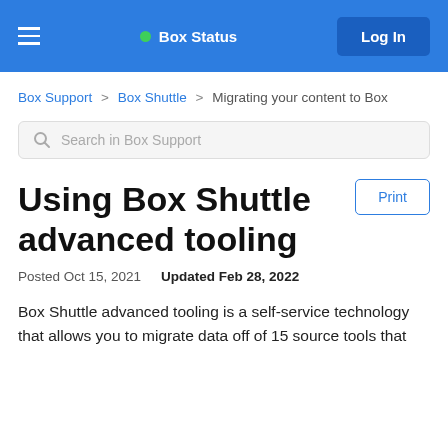Box Status  Log In
Box Support > Box Shuttle > Migrating your content to Box
Search in Box Support
Using Box Shuttle advanced tooling
Posted Oct 15, 2021   Updated Feb 28, 2022
Box Shuttle advanced tooling is a self-service technology that allows you to migrate data off of 15 source tools that